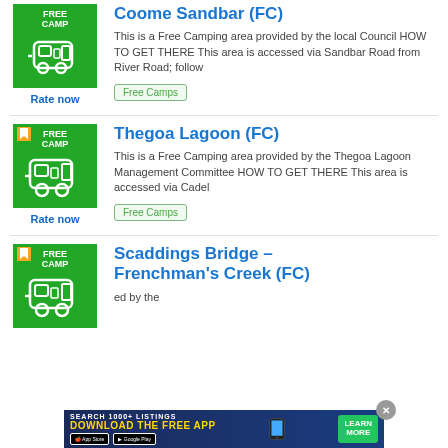[Figure (illustration): Green FREE CAMP badge with white caravan icon]
Coome Sandbar (FC)
This is a Free Camping area provided by the local Council HOW TO GET THERE This area is accessed via Sandbar Road from River Road; follow
Rate now
Free Camps
[Figure (illustration): Green FREE CAMP badge with bookmark icon and white caravan icon]
Thegoa Lagoon (FC)
This is a Free Camping area provided by the Thegoa Lagoon Management Committee HOW TO GET THERE This area is accessed via Cadel
Rate now
Free Camps
[Figure (illustration): Green FREE CAMP badge with bookmark icon and white caravan icon]
Scaddings Bridge – Frenchman's Creek (FC)
ed by the
[Figure (screenshot): App download advertisement banner with SEARCH 1000+ LISTINGS DOWNLOAD THE FREE APP text and App Store / Google Play buttons and LEARN MORE button]